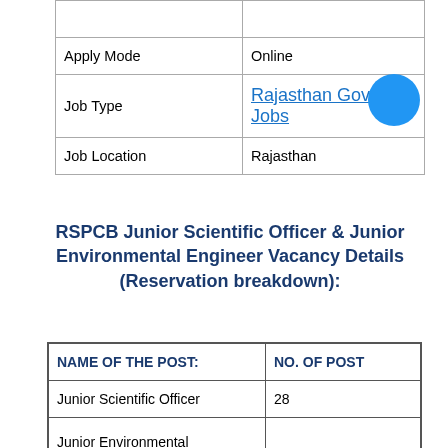|  |  |
| --- | --- |
| Apply Mode | Online |
| Job Type | Rajasthan Govt Jobs |
| Job Location | Rajasthan |
RSPCB Junior Scientific Officer & Junior Environmental Engineer Vacancy Details (Reservation breakdown):
| NAME OF THE POST: | NO. OF POST |
| --- | --- |
| Junior Scientific Officer | 28 |
| Junior Environmental Engineer | 86 |